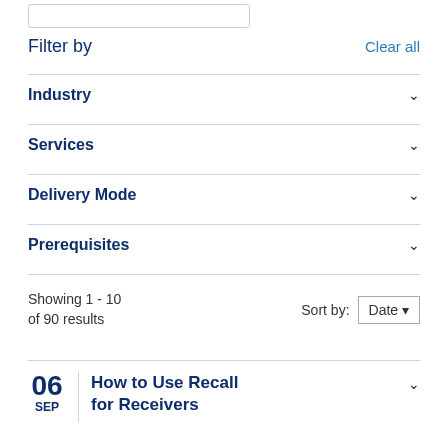[Figure (screenshot): Search input box at top]
Filter by
Clear all
Industry
Services
Delivery Mode
Prerequisites
Showing 1 - 10 of 90 results
Sort by: Date
06 SEP
How to Use Recall for Receivers